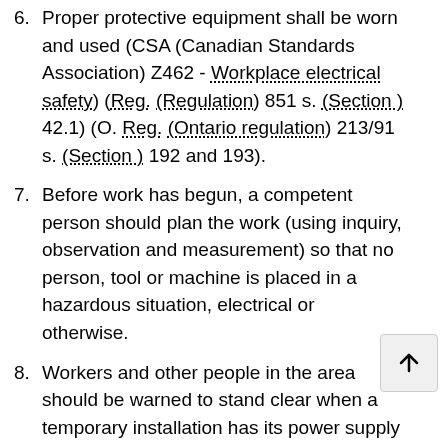6. Proper protective equipment shall be worn and used (CSA (Canadian Standards Association) Z462 - Workplace electrical safety) (Reg. (Regulation) 851 s. (Section ) 42.1) (O. Reg. (Ontario regulation) 213/91 s. (Section ) 192 and 193).
7. Before work has begun, a competent person should plan the work (using inquiry, observation and measurement) so that no person, tool or machine is placed in a hazardous situation, electrical or otherwise.
8. Workers and other people in the area should be warned to stand clear when a temporary installation has its power supply connected and activated for the first time.
9. For repairs or maintenance, lighting and other electrical fixtures shall be disconnected